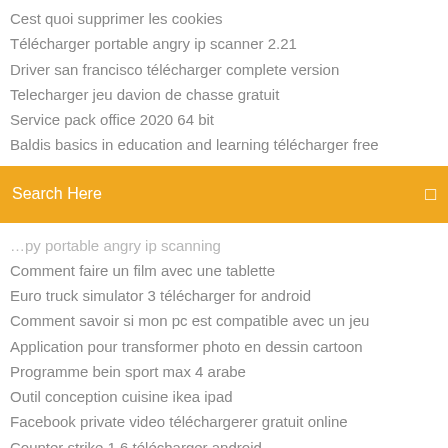Cest quoi supprimer les cookies
Télécharger portable angry ip scanner 2.21
Driver san francisco télécharger complete version
Telecharger jeu davion de chasse gratuit
Service pack office 2020 64 bit
Baldis basics in education and learning télécharger free
[Figure (screenshot): Orange search bar with text 'Search Here' and a search icon on the right]
[partial item clipped at top]
Comment faire un film avec une tablette
Euro truck simulator 3 télécharger for android
Comment savoir si mon pc est compatible avec un jeu
Application pour transformer photo en dessin cartoon
Programme bein sport max 4 arabe
Outil conception cuisine ikea ipad
Facebook private video téléchargerer gratuit online
Counter strike 1.6 télécharger android
Telecharger itune win 10
Telecharger google play jeux pc